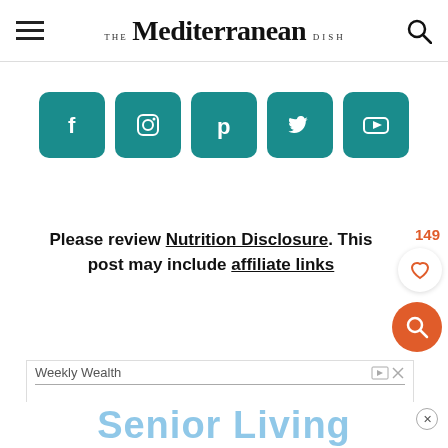THE Mediterranean DISH
[Figure (illustration): Row of 5 teal social media icon buttons: Facebook, Instagram, Pinterest, Twitter, YouTube]
Please review Nutrition Disclosure. This post may include affiliate links
[Figure (screenshot): Weekly Wealth advertisement box with ad controls]
[Figure (screenshot): Senior Living advertisement banner at bottom of page]